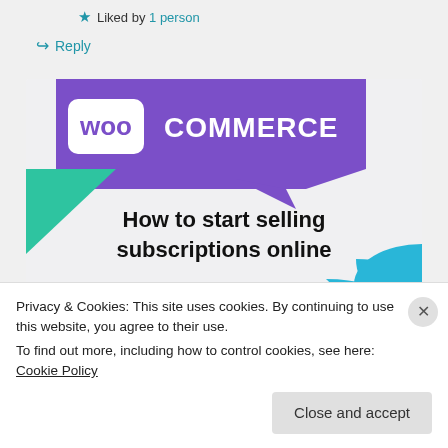Liked by 1 person
Reply
[Figure (illustration): WooCommerce advertisement banner showing purple logo with text 'How to start selling subscriptions online' on a light background with teal and blue geometric shapes.]
Privacy & Cookies: This site uses cookies. By continuing to use this website, you agree to their use.
To find out more, including how to control cookies, see here: Cookie Policy
Close and accept